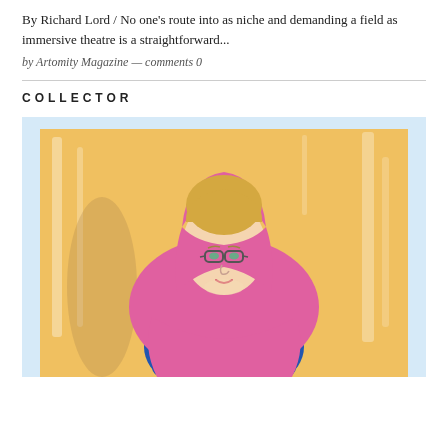By Richard Lord / No one's route into as niche and demanding a field as immersive theatre is a straightforward...
by Artomity Magazine — comments 0
COLLECTOR
[Figure (illustration): Illustrated portrait of a woman wearing glasses and a pink/magenta headscarf and shawl over a blue top, against a warm golden-yellow background with light blue border.]